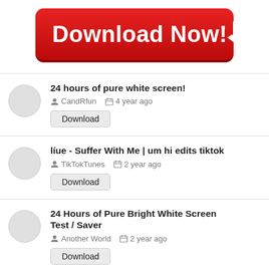[Figure (other): Red rounded Download Now button with white arrow icon]
24 hours of pure white screen! | CandRfun | 4 year ago | Download
líue - Suffer With Me | um hi edits tiktok | TikTokTunes | 2 year ago | Download
24 Hours of Pure Bright White Screen Test / Saver | Another World | 2 year ago | Download
A Night of Super Stratospheric Drama at White Hart Lane